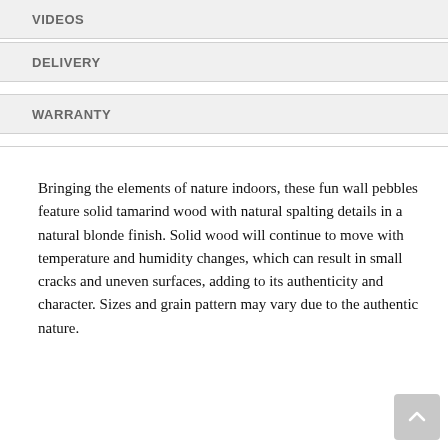VIDEOS
DELIVERY
WARRANTY
Bringing the elements of nature indoors, these fun wall pebbles feature solid tamarind wood with natural spalting details in a natural blonde finish. Solid wood will continue to move with temperature and humidity changes, which can result in small cracks and uneven surfaces, adding to its authenticity and character. Sizes and grain pattern may vary due to the authentic nature.